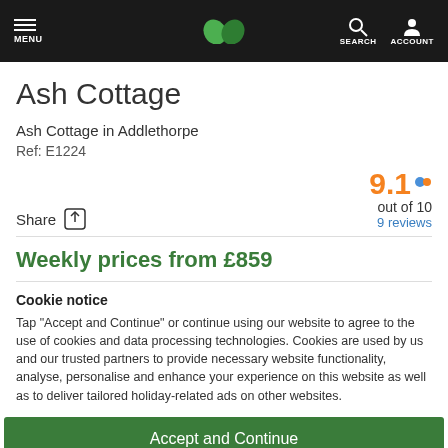MENU | [leaf logo] | SEARCH ACCOUNT
Ash Cottage
Ash Cottage in Addlethorpe
Ref: E1224
Share | 9.1 out of 10 | 9 reviews
Weekly prices from £859
Cookie notice
Tap "Accept and Continue" or continue using our website to agree to the use of cookies and data processing technologies. Cookies are used by us and our trusted partners to provide necessary website functionality, analyse, personalise and enhance your experience on this website as well as to deliver tailored holiday-related ads on other websites.
Accept and Continue